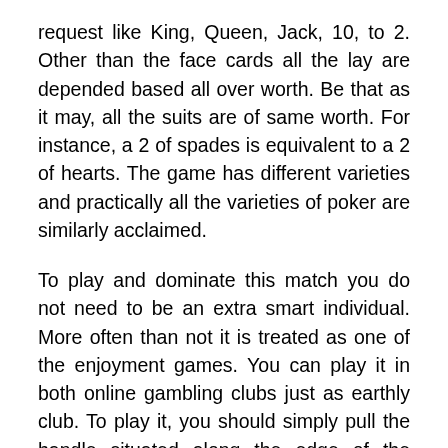request like King, Queen, Jack, 10, to 2. Other than the face cards all the lay are depended based all over worth. Be that as it may, all the suits are of same worth. For instance, a 2 of spades is equivalent to a 2 of hearts. The game has different varieties and practically all the varieties of poker are similarly acclaimed.
To play and dominate this match you do not need to be an extra smart individual. More often than not it is treated as one of the enjoyment games. You can play it in both online gambling clubs just as earthly club. To play it, you should simply pull the handle situated along the edge of the machine and trust that the machine will show the outcome. On the off chance that the pictures in the columns are for the